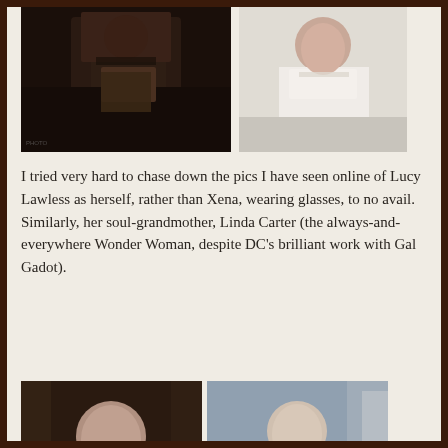[Figure (photo): Two photos at top: left is a dark-toned photo of a woman in denim, right is a lighter photo of a woman in white top with dark hair]
I tried very hard to chase down the pics I have seen online of Lucy Lawless as herself, rather than Xena, wearing glasses, to no avail. Similarly, her soul-grandmother, Linda Carter (the always-and-everywhere Wonder Woman, despite DC’s brilliant work with Gal Gadot).
[Figure (photo): Two photos at bottom: left shows a woman wearing glasses in a vintage/film setting, right shows a woman in a dark military-style jacket wearing round glasses]